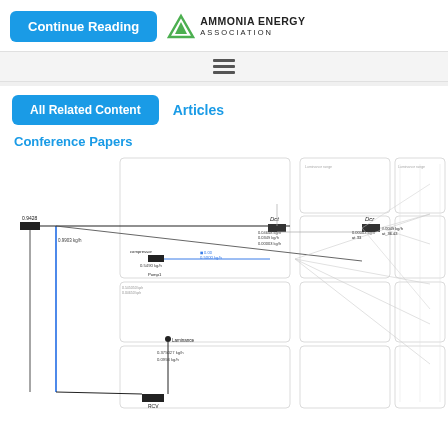Continue Reading | AMMONIA ENERGY ASSOCIATION
All Related Content   Articles
Conference Papers
[Figure (engineering-diagram): Process flow / Sankey-style engineering diagram showing mass flow rates (kg/h) between various process nodes including compressors, heat exchangers, separators, and stream labels with numeric values such as 0.9903 kg/h, 0.5000 kg/h, 0.0649 kg/h, 0.00003 kph, 0.0099 kph, 0.375027 kph, 0.0044 kph, and node labels including RCV. Lines connect nodes in a complex network pattern.]